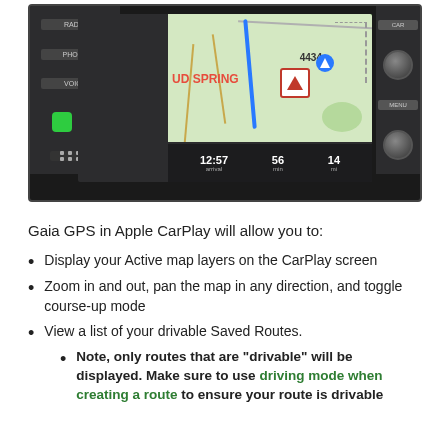[Figure (screenshot): Screenshot of Gaia GPS app running in Apple CarPlay on a car dashboard screen, showing navigation map with 'UD SPRING' label, turn-by-turn directions, arrival time 12:57, 56 min, 14 mi, elevation 4434]
Gaia GPS in Apple CarPlay will allow you to:
Display your Active map layers on the CarPlay screen
Zoom in and out, pan the map in any direction, and toggle course-up mode
View a list of your drivable Saved Routes.
Note, only routes that are "drivable" will be displayed. Make sure to use driving mode when creating a route to ensure your route is drivable